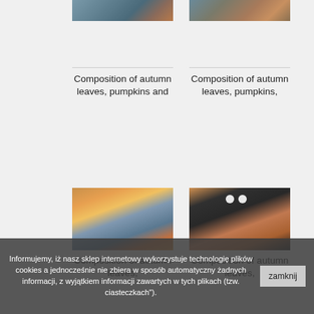[Figure (photo): Autumn leaves and pumpkins composition photo (top left), partially visible]
[Figure (photo): Autumn leaves and pumpkins composition photo (top right), partially visible]
Composition of autumn leaves, pumpkins and
Composition of autumn leaves, pumpkins,
[Figure (photo): Composition of autumn leaves, pumpkins on blue wooden background (bottom left)]
[Figure (photo): Composition of autumn leaves, pumpkins on dark background with two white dots (bottom right)]
Composition of autumn leaves,
Composition of autumn leaves,
Informujemy, iż nasz sklep internetowy wykorzystuje technologię plików cookies a jednocześnie nie zbiera w sposób automatyczny żadnych informacji, z wyjątkiem informacji zawartych w tych plikach (tzw. ciasteczkach").